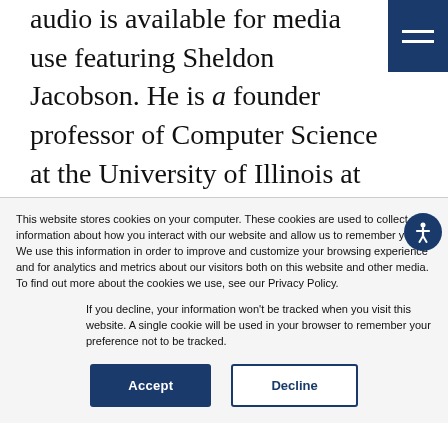audio is available for media use featuring Sheldon Jacobson. He is a founder professor of Computer Science at the University of Illinois at Urbana-Champaign. He talks about taking a data approach to solving America's gun violence problem. This
This website stores cookies on your computer. These cookies are used to collect information about how you interact with our website and allow us to remember you. We use this information in order to improve and customize your browsing experience and for analytics and metrics about our visitors both on this website and other media. To find out more about the cookies we use, see our Privacy Policy.
If you decline, your information won't be tracked when you visit this website. A single cookie will be used in your browser to remember your preference not to be tracked.